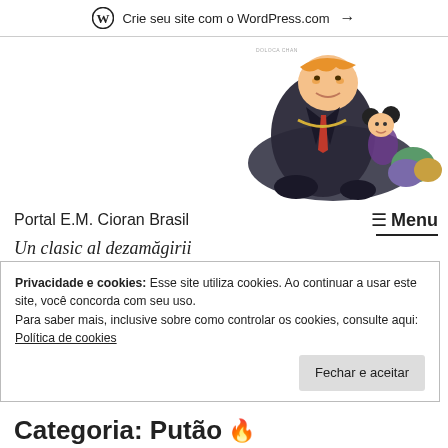Crie seu site com o WordPress.com →
[Figure (illustration): Political cartoon/caricature showing a large figure resembling Trump sitting with a smaller figure with Mickey Mouse ears, surrounded by bags, with watermark text 'DOLOCA CHAN']
Portal E.M. Cioran Brasil
Un clasic al dezamăgirii (2010-
Privacidade e cookies: Esse site utiliza cookies. Ao continuar a usar este site, você concorda com seu uso.
Para saber mais, inclusive sobre como controlar os cookies, consulte aqui: Política de cookies
Fechar e aceitar
Categoria: Putão 🔥